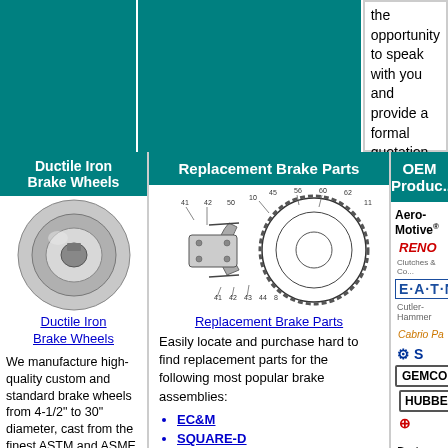the opportunity to speak with you and provide a formal quotation.
Ductile Iron Brake Wheels
[Figure (illustration): Ductile iron brake wheel component, cylindrical with central bore]
Ductile Iron Brake Wheels
We manufacture high-quality custom and standard brake wheels from 4-1/2" to 30" diameter, cast from the finest ASTM and ASME specified 80-60-03 Ductile Iron to provide maximum service and a
Replacement Brake Parts
[Figure (engineering-diagram): Exploded engineering diagram of a brake assembly with numbered parts]
Replacement Brake Parts
Easily locate and purchase hard to find replacement parts for the following most popular brake assemblies:
EC&M
SQUARE-D
WESTINGHOUSE
CUTLER-HAMMER
OEM Products
[Figure (logo): Brand logos: Aero-Motive, RENO, EATON, Clutch/Pad brand, S logo, GEMCO, HUBBELL, and another brand]
Brake Products is proud to maintain excellent decade-long distributor relationships with industry-leading Original Equipment Manufacturers. We keep most popular parts in stock to improve delivery times. These products are available to quote and purchase 24